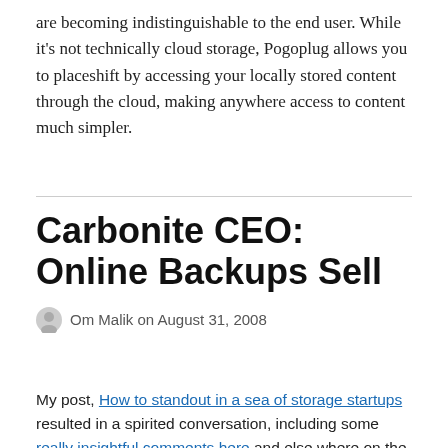are becoming indistinguishable to the end user. While it's not technically cloud storage, Pogoplug allows you to placeshift by accessing your locally stored content through the cloud, making anywhere access to content much simpler.
Carbonite CEO: Online Backups Sell
Om Malik on August 31, 2008
My post, How to standout in a sea of storage startups resulted in a spirited conversation, including some really insightful comments here and else where on the web.